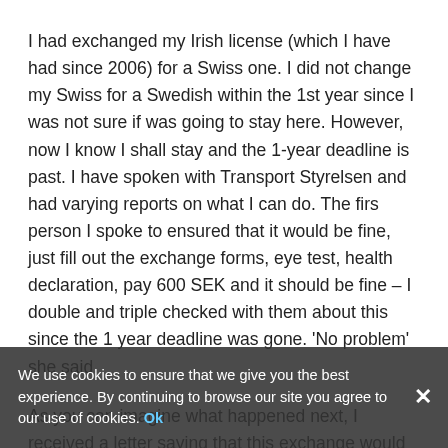I had exchanged my Irish license (which I have had since 2006) for a Swiss one. I did not change my Swiss for a Swedish within the 1st year since I was not sure if was going to stay here. However, now I know I shall stay and the 1-year deadline is past. I have spoken with Transport Styrelsen and had varying reports on what I can do. The firs person I spoke to ensured that it would be fine, just fill out the exchange forms, eye test, health declaration, pay 600 SEK and it should be fine – I double and triple checked with them about this since the 1 year deadline was gone. 'No problem' she said.
As you can imagine what happened next, I received a letter saying that this exchange would not be possible. However, I have a direct contact person within the Transport Styrelsen now, which is something. She says that what I was told by her colleague was wrong and that instead they are sending me back my Swiss license, minus my 600SEK! They will not refund, despite it having been at their behest that I
We use cookies to ensure that we give you the best experience. By continuing to browse our site you agree to our use of cookies. Ok